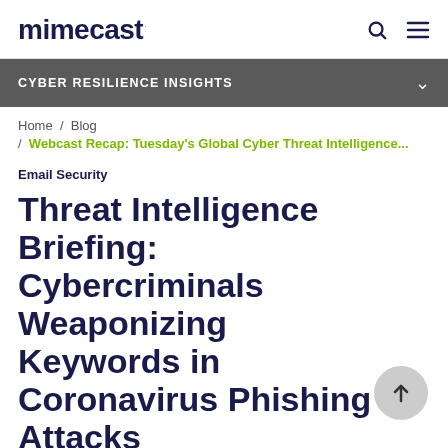mimecast
CYBER RESILIENCE INSIGHTS
Home / Blog / Webcast Recap: Tuesday's Global Cyber Threat Intelligence...
Email Security
Threat Intelligence Briefing: Cybercriminals Weaponizing Keywords in Coronavirus Phishing Attacks
by Michael Madon | Mar 24, 2020